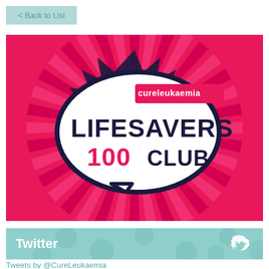< Back to List
[Figure (illustration): Cure Leukaemia Lifesavers 100 Club logo on a hot pink/red radiating rays background. A comic-book style speech bubble contains bold text: LIFESAVERS 100 CLUB with a cureleukaemia banner at the top right.]
[Figure (infographic): Twitter widget header bar in teal/mint green with polka dot pattern, white Twitter bird icon on right, white bold text 'Twitter' on left.]
Tweets by @CureLeukaemia